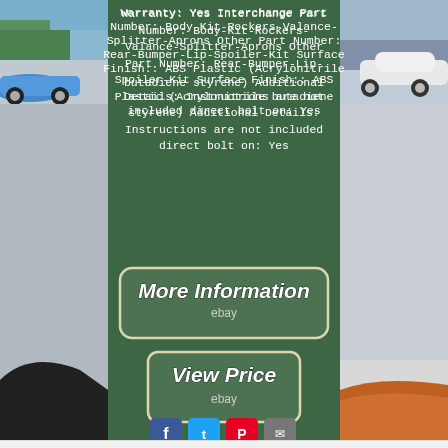[Figure (photo): eBay product listing page showing a blue car on left background, car part on right background, dark green center panel with product specification text, 'More Information' and 'View Price' buttons linking to eBay, and social sharing icons (Facebook, Twitter, Pinterest, Email) at the bottom.]
Warranty: Yes Interchange Part Number: Body-Kit-Rockers-Valance-Splitter-Aprons Other Part Number: Rear-Bumper-Lip-Spoiler-Kit Surface Finish:: ABS Plastic (Acrylonitrile butadiene styrene) Additional Details: Instructions are not included direct bolt on: Yes